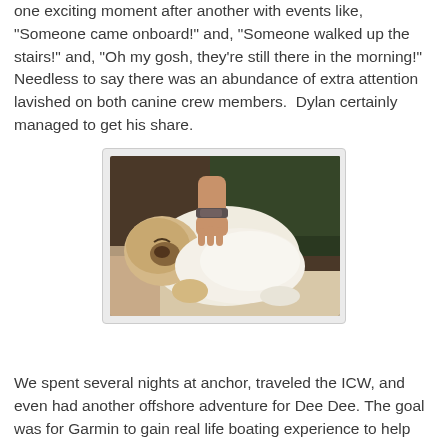one exciting moment after another with events like, "Someone came onboard!" and, "Someone walked up the stairs!" and, "Oh my gosh, they're still there in the morning!" Needless to say there was an abundance of extra attention lavished on both canine crew members.  Dylan certainly managed to get his share.
[Figure (photo): A dog (light-colored, appears to be a Shar-Pei or similar breed) lying on its back on a couch/cushion, being petted by a human hand. The dog looks relaxed. Background shows a dark leather couch.]
We spent several nights at anchor, traveled the ICW, and even had another offshore adventure for Dee Dee. The goal was for Garmin to gain real life boating experience to help